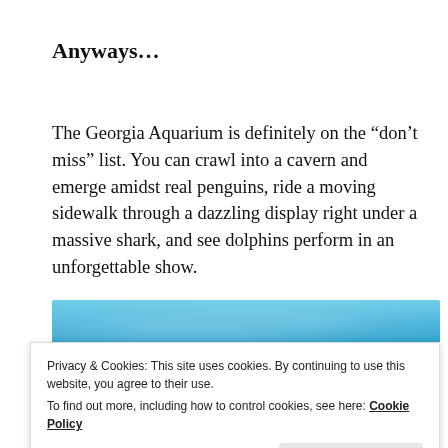Anyways…
The Georgia Aquarium is definitely on the “don’t miss” list. You can crawl into a cavern and emerge amidst real penguins, ride a moving sidewalk through a dazzling display right under a massive shark, and see dolphins perform in an unforgettable show.
[Figure (photo): Top portion of an aquarium photo showing blue water]
Privacy & Cookies: This site uses cookies. By continuing to use this website, you agree to their use.
To find out more, including how to control cookies, see here: Cookie Policy
[Figure (photo): Bottom portion of aquarium photo showing underwater scene with fish and coral]